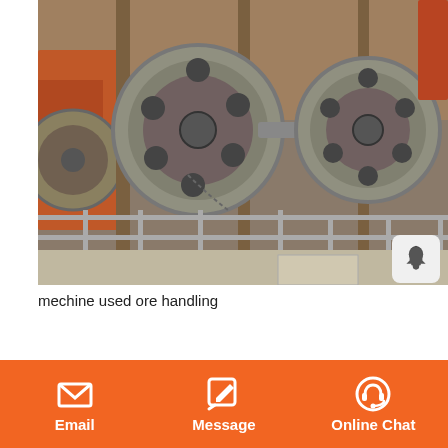[Figure (photo): Industrial jaw crusher / ore handling machine viewed from the side, showing large flywheels, heavy metal frame, structural steel columns, and metal railing/walkway. The machine is heavily worn and rusty.]
mechine used ore handling
[Figure (photo): Partial view of another industrial machine or equipment, partially visible at the bottom of page.]
Email   Message   Online Chat